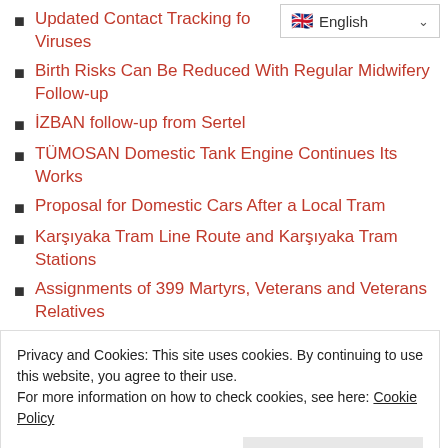Updated Contact Tracking for Viruses
Birth Risks Can Be Reduced With Regular Midwifery Follow-up
İZBAN follow-up from Sertel
TÜMOSAN Domestic Tank Engine Continues Its Works
Proposal for Domestic Cars After a Local Tram
Karşıyaka Tram Line Route and Karşıyaka Tram Stations
Assignments of 399 Martyrs, Veterans and Veterans Relatives
İZDENİZ Launches a Free Cruise for Martyrs' Relatives,
Privacy and Cookies: This site uses cookies. By continuing to use this website, you agree to their use.
For more information on how to check cookies, see here: Cookie Policy
Over 280 Automobile Brands Attend the China